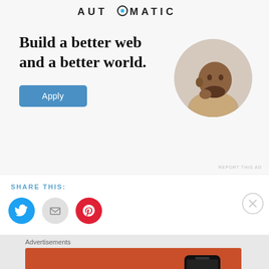[Figure (logo): Automattic logo with stylized 'O' in the middle of the wordmark]
Build a better web and a better world.
[Figure (photo): Circular cropped photo of a man sitting at a desk, resting his chin on his hand, thinking]
Apply
REPORT THIS AD
SHARE THIS:
[Figure (infographic): Three social share icon buttons: Twitter (blue bird), Email (gray envelope), Pinterest (red P)]
Advertisements
[Figure (illustration): DuckDuckGo advertisement banner on orange background: 'Search, browse, and email with more privacy. All in One Free App' with phone graphic and DuckDuckGo logo]
REPORT THIS AD